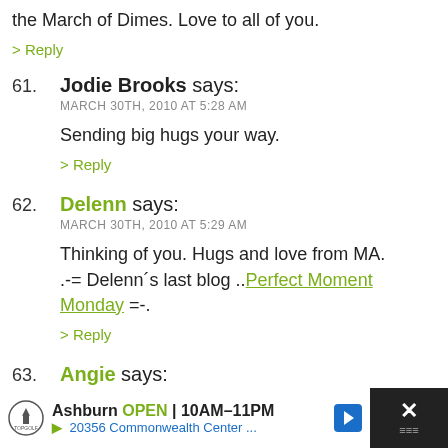the March of Dimes. Love to all of you.
> Reply
61. Jodie Brooks says:
MARCH 30TH, 2010 AT 5:28 AM
Sending big hugs your way.
> Reply
62. Delenn says:
MARCH 30TH, 2010 AT 5:29 AM
Thinking of you. Hugs and love from MA.
.-= Delenn´s last blog ..Perfect Moment Monday =-.
> Reply
63. Angie says:
MARCH 30TH, 2010 AT 5:33 AM
Heather
[Figure (screenshot): Advertisement bar at bottom: Topgolf logo, Ashburn OPEN 10AM-11PM, 20356 Commonwealth Center..., navigation arrow icon, close button with X]